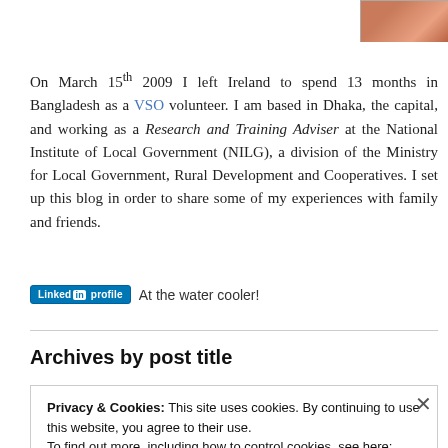[Figure (photo): Partial photo of a person, cropped, in upper right corner]
On March 15th 2009 I left Ireland to spend 13 months in Bangladesh as a VSO volunteer. I am based in Dhaka, the capital, and working as a Research and Training Adviser at the National Institute of Local Government (NILG), a division of the Ministry for Local Government, Rural Development and Cooperatives. I set up this blog in order to share some of my experiences with family and friends.
[Figure (logo): LinkedIn profile badge button]
At the water cooler!
Archives by post title
Privacy & Cookies: This site uses cookies. By continuing to use this website, you agree to their use.
To find out more, including how to control cookies, see here: Cookie Policy
Close and accept